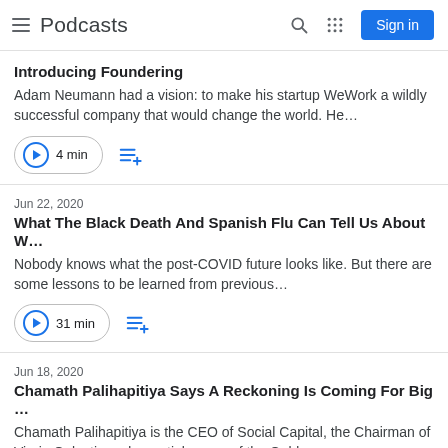Podcasts
Introducing Foundering
Adam Neumann had a vision: to make his startup WeWork a wildly successful company that would change the world. He…
4 min
Jun 22, 2020
What The Black Death And Spanish Flu Can Tell Us About W…
Nobody knows what the post-COVID future looks like. But there are some lessons to be learned from previous…
31 min
Jun 18, 2020
Chamath Palihapitiya Says A Reckoning Is Coming For Big …
Chamath Palihapitiya is the CEO of Social Capital, the Chairman of Virgin Galactic and a partial owner of the Golde…